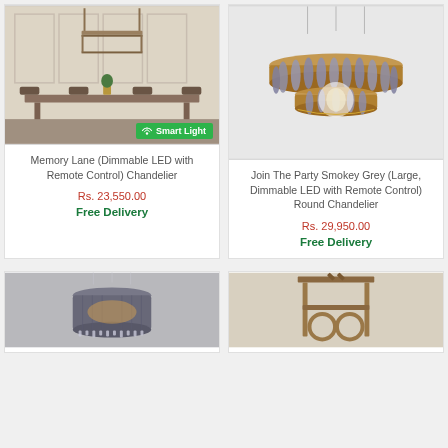[Figure (photo): Modern rectangular chandelier over dining table in elegant room with 'Smart Light' badge]
Memory Lane (Dimmable LED with Remote Control) Chandelier
Rs. 23,550.00
Free Delivery
[Figure (photo): Smokey grey round tiered chandelier with brass frame on white background]
Join The Party Smokey Grey (Large, Dimmable LED with Remote Control) Round Chandelier
Rs. 29,950.00
Free Delivery
[Figure (photo): Smokey grey barrel-shaped pendant chandelier on grey background]
[Figure (photo): Bronze rectangular frame billiard/island chandelier on light background]